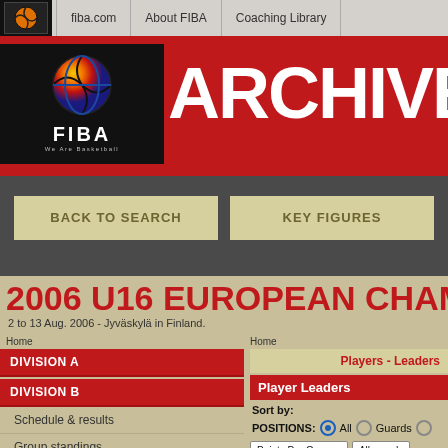fiba.com | About FIBA | Coaching Library
[Figure (logo): FIBA ARCHIVE red banner with FIBA logo (basketball globe) and ARCHIVE text in white]
BACK TO SEARCH | KEY FIGURES
2006 U16 EUROPEAN CHAMPIONSHIP
2 to 13 Aug. 2006 - Jyväskylä in Finland.
Home
DIVISION A
DIVISION B
Schedule & results
Group standings
Statistics
Teams
Players - Leaders
Player Leaders
Sort by:
POSITIONS: All  Guards
Points Per Game   All rounds